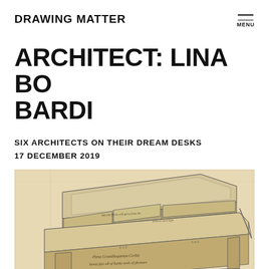DRAWING MATTER
ARCHITECT: LINA BO BARDI
SIX ARCHITECTS ON THEIR DREAM DESKS
17 DECEMBER 2019
[Figure (illustration): Architectural pencil drawing of a writing desk with a slanted top section, multiple drawers, and handwritten annotations in cursive. The drawing is on aged beige/cream paper with fine line work showing the desk from a three-quarter perspective.]